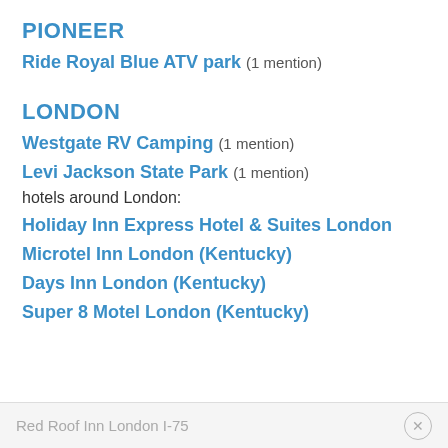PIONEER
Ride Royal Blue ATV park  (1 mention)
LONDON
Westgate RV Camping  (1 mention)
Levi Jackson State Park  (1 mention)
hotels around London:
Holiday Inn Express Hotel & Suites London
Microtel Inn London (Kentucky)
Days Inn London (Kentucky)
Super 8 Motel London (Kentucky)
Red Roof Inn London I-75